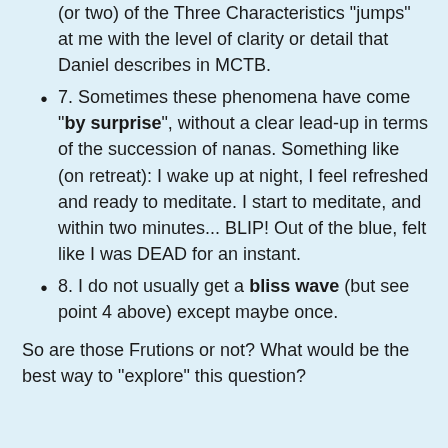(or two) of the Three Characteristics "jumps" at me with the level of clarity or detail that Daniel describes in MCTB.
7. Sometimes these phenomena have come "by surprise", without a clear lead-up in terms of the succession of nanas. Something like (on retreat): I wake up at night, I feel refreshed and ready to meditate. I start to meditate, and within two minutes... BLIP! Out of the blue, felt like I was DEAD for an instant.
8. I do not usually get a bliss wave (but see point 4 above) except maybe once.
So are those Frutions or not? What would be the best way to "explore" this question?